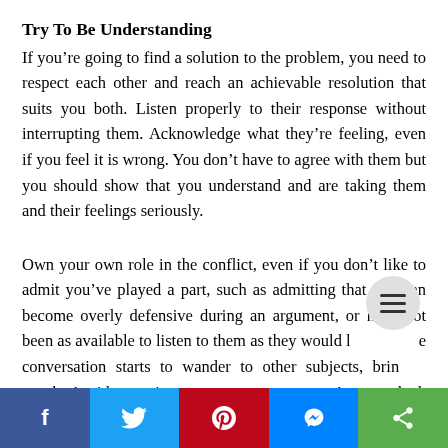Try To Be Understanding
If you’re going to find a solution to the problem, you need to respect each other and reach an achievable resolution that suits you both. Listen properly to their response without interrupting them. Acknowledge what they’re feeling, even if you feel it is wrong. You don’t have to agree with them but you should show that you understand and are taking them and their feelings seriously.
Own your own role in the conflict, even if you don’t like to admit you’ve played a part, such as admitting that you can become overly defensive during an argument, or have not been as available to listen to them as they would like. If the conversation starts to wander to other subjects, bring it back. Avoid returning to every argument you’ve ever had, and
[Figure (other): Social share bar with Facebook, Twitter, Pinterest, Messenger, and share buttons]